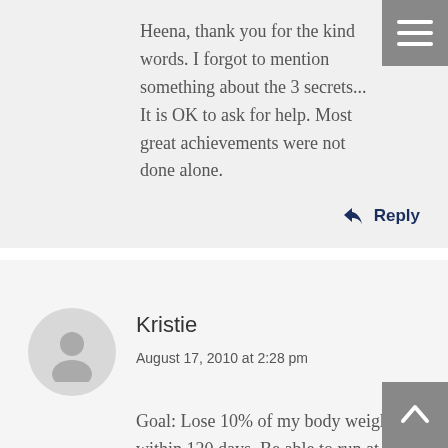Heena, thank you for the kind words. I forgot to mention something about the 3 secrets... It is OK to ask for help. Most great achievements were not done alone.
Reply
Kristie
August 17, 2010 at 2:28 pm
Goal: Lose 10% of my body weight within 120 days. Be able to run at least 5 miles without foot pain or joint aches, feel healthier and more